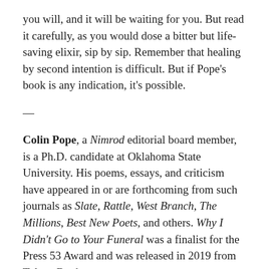you will, and it will be waiting for you. But read it carefully, as you would dose a bitter but life-saving elixir, sip by sip. Remember that healing by second intention is difficult. But if Pope's book is any indication, it's possible.
—
Colin Pope, a Nimrod editorial board member, is a Ph.D. candidate at Oklahoma State University. His poems, essays, and criticism have appeared in or are forthcoming from such journals as Slate, Rattle, West Branch, The Millions, Best New Poets, and others. Why I Didn't Go to Your Funeral was a finalist for the Press 53 Award and was released in 2019 from Tolsun Books.
Britton Gildersleeve's creative nonfiction and poetry have appeared in Nimrod, Spoon River Poetry Review. This